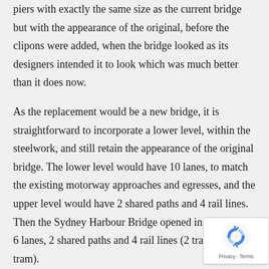piers with exactly the same size as the current bridge but with the appearance of the original, before the clipons were added, when the bridge looked as its designers intended it to look which was much better than it does now.
As the replacement would be a new bridge, it is straightforward to incorporate a lower level, within the steelwork, and still retain the appearance of the original bridge. The lower level would have 10 lanes, to match the existing motorway approaches and egresses, and the upper level would have 2 shared paths and 4 rail lines. Then the Sydney Harbour Bridge opened in 1932 it had 6 lanes, 2 shared paths and 4 rail lines (2 train and 2 tram).
Replacing bridges on their existing piers is as